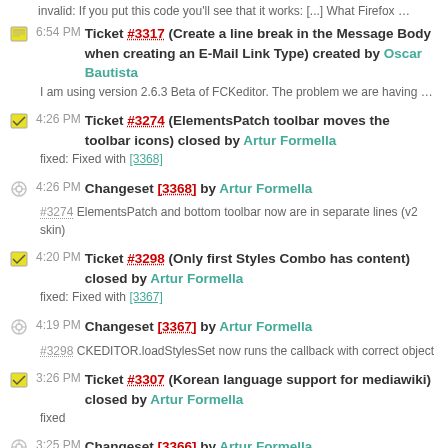invalid: If you put this code you'll see that it works: [...] What Firefox …
6:54 PM Ticket #3317 (Create a line break in the Message Body when creating an E-Mail Link Type) created by Oscar Bautista — I am using version 2.6.3 Beta of FCKeditor. The problem we are having …
4:26 PM Ticket #3274 (ElementsPatch toolbar moves the toolbar icons) closed by Artur Formella — fixed: Fixed with [3368]
4:26 PM Changeset [3368] by Artur Formella — #3274 ElementsPatch and bottom toolbar now are in separate lines (v2 skin)
4:20 PM Ticket #3298 (Only first Styles Combo has content) closed by Artur Formella — fixed: Fixed with [3367]
4:19 PM Changeset [3367] by Artur Formella — #3298 CKEDITOR.loadStylesSet now runs the callback with correct object
3:26 PM Ticket #3307 (Korean language support for mediawiki) closed by Artur Formella — fixed
3:25 PM Changeset [3366] by Artur Formella — #3307 Added Korean language support for mediawiki
3:19 PM Ticket #3221 (Swedish translation) closed by Artur Formella — fixed: Fixed with [3365]
3:19 PM Changeset [3365] by Artur Formella